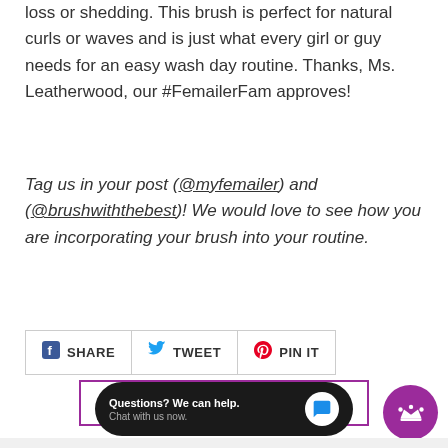loss or shedding. This brush is perfect for natural curls or waves and is just what every girl or guy needs for an easy wash day routine. Thanks, Ms. Leatherwood, our #FemailerFam approves!
Tag us in your post (@myfemailer) and (@brushwiththebest)! We would love to see how you are incorporating your brush into your routine.
[Figure (infographic): Social share buttons: Facebook SHARE, Twitter TWEET, Pinterest PIN IT]
[Figure (infographic): Back to Femail Blog button with left arrow, purple border]
[Figure (infographic): Chat widget: Questions? We can help. Chat with us now. with blue chat bubble icon]
[Figure (infographic): Purple circle button with crown icon]